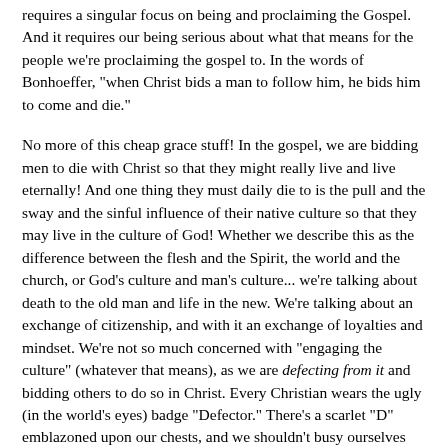requires a singular focus on being and proclaiming the Gospel. And it requires our being serious about what that means for the people we're proclaiming the gospel to. In the words of Bonhoeffer, "when Christ bids a man to follow him, he bids him to come and die."
No more of this cheap grace stuff! In the gospel, we are bidding men to die with Christ so that they might really live and live eternally! And one thing they must daily die to is the pull and the sway and the sinful influence of their native culture so that they may live in the culture of God! Whether we describe this as the difference between the flesh and the Spirit, the world and the church, or God's culture and man's culture... we're talking about death to the old man and life in the new. We're talking about an exchange of citizenship, and with it an exchange of loyalties and mindset. We're not so much concerned with "engaging the culture" (whatever that means), as we are defecting from it and bidding others to do so in Christ. Every Christian wears the ugly (in the world's eyes) badge "Defector." There's a scarlet "D" emblazoned upon our chests, and we shouldn't busy ourselves forgetting it by seeking to "engage the culture," which too often and more subtly than we care to admit means "being like the